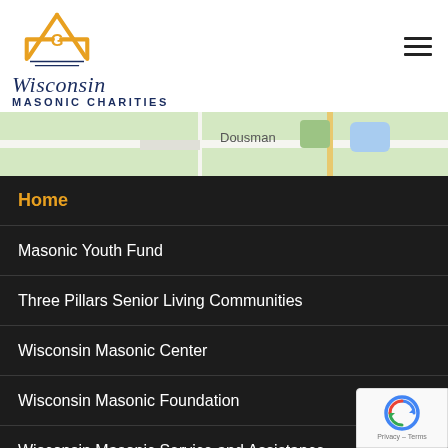[Figure (logo): Wisconsin Masonic Charities logo with square and compass symbol in gold, cursive Wisconsin text and block MASONIC CHARITIES text in navy blue]
[Figure (map): Google Maps strip showing Dousman area with roads and greenery]
Home
Masonic Youth Fund
Three Pillars Senior Living Communities
Wisconsin Masonic Center
Wisconsin Masonic Foundation
Wisconsin Masonic Service and Assistance
[Figure (logo): reCAPTCHA badge with Google logo and Privacy - Terms text]